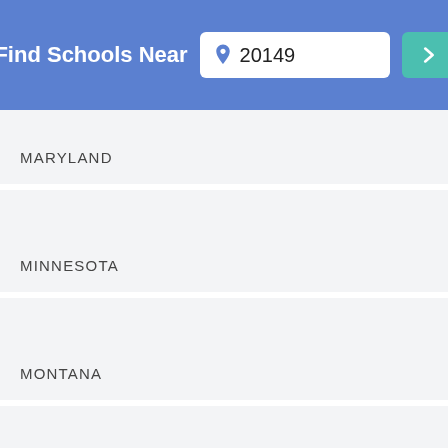Find Schools Near 20149
MARYLAND
MINNESOTA
MONTANA
NEW HAMPSHIRE
NEW YORK